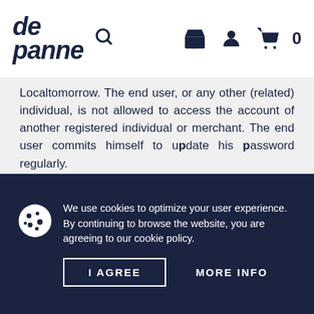de panne [search icon] [store icon] [user icon] [cart icon] 0
Localtomorrow. The end user, or any other (related) individual, is not allowed to access the account of another registered individual or merchant. The end user commits himself to update his password regularly.
RIGHT OF RENUNCIATION
The end user has the right to renounce his purchase as long as the registered merchant has not approved the order yet. The registered
We use cookies to optimize your user experience. By continuing to browse the website, you are agreeing to our cookie policy.
I AGREE
MORE INFO